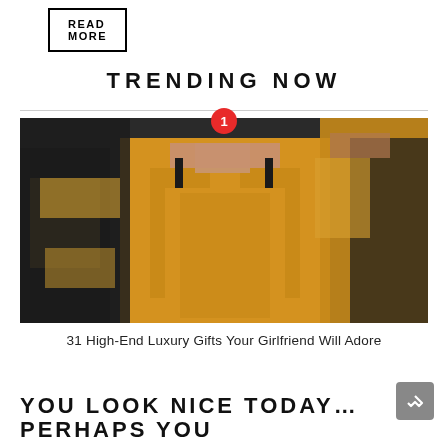READ MORE
TRENDING NOW
[Figure (photo): Fashion photo of models wearing yellow and black outfits, with a red circular badge showing number 1 at top center]
31 High-End Luxury Gifts Your Girlfriend Will Adore
YOU LOOK NICE TODAY… PERHAPS YOU